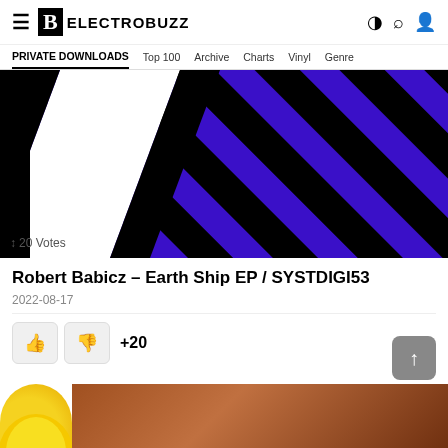≡ B ELECTROBUZZ
PRIVATE DOWNLOADS  Top 100  Archive  Charts  Vinyl  Genre
[Figure (illustration): Album cover art with diagonal stripes in black and purple/violet on white background. Vote count overlay: ↑↓ 20 Votes.]
Robert Babicz – Earth Ship EP / SYSTDIGI53
2022-08-17
+20